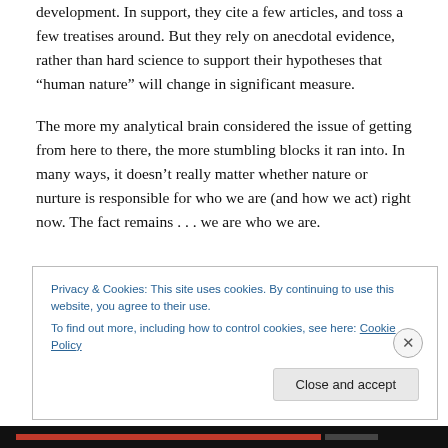development.  In support, they cite a few articles, and toss a few treatises around.  But they rely on anecdotal evidence, rather than hard science to support their hypotheses that “human nature” will change in significant measure.
The more my analytical brain considered the issue of getting from here to there, the more stumbling blocks it ran into.  In many ways, it doesn’t really matter whether nature or nurture is responsible for who we are (and how we act) right now.  The fact remains . . . we are who we are.
Privacy & Cookies: This site uses cookies. By continuing to use this website, you agree to their use.
To find out more, including how to control cookies, see here: Cookie Policy
Close and accept